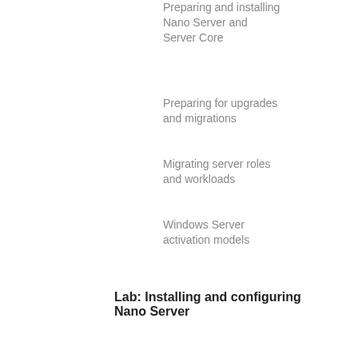Preparing and installing Nano Server and Server Core
Preparing for upgrades and migrations
Migrating server roles and workloads
Windows Server activation models
Lab: Installing and configuring Nano Server
Implementing Nano Server
Completing post-installation tasks on the Nano Server
Performing remote management